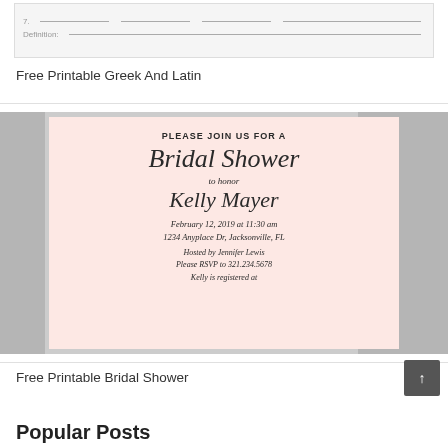[Figure (other): Partial view of a worksheet strip at the top of the page with dashed lines and a Definition label]
Free Printable Greek And Latin
[Figure (illustration): Bridal shower invitation card with floral accents on a pink background reading: PLEASE JOIN US FOR A Bridal Shower to honor Kelly Mayer February 12, 2019 at 11:30 am 1234 Anyplace Dr, Jacksonville, FL Hosted by Jennifer Lewis Please RSVP to 321.234.5678 Kelly is registered at]
Free Printable Bridal Shower
Popular Posts